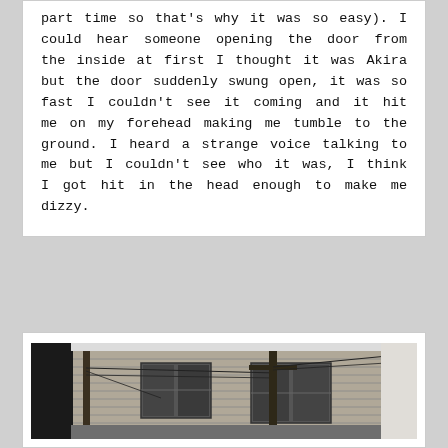part time so that's why it was so easy). I could hear someone opening the door from the inside at first I thought it was Akira but the door suddenly swung open, it was so fast I couldn't see it coming and it hit me on my forehead making me tumble to the ground. I heard a strange voice talking to me but I couldn't see who it was, I think I got hit in the head enough to make me dizzy.
[Figure (photo): Black and white photograph of a residential house exterior with wooden siding, windows, and utility poles with wires in the foreground]